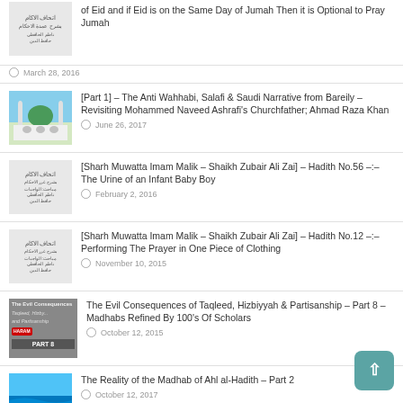of Eid and if Eid is on the Same Day of Jumah Then it is Optional to Pray Jumah — March 28, 2016
[Part 1] – The Anti Wahhabi, Salafi & Saudi Narrative from Bareily – Revisiting Mohammed Naveed Ashrafi's Churchfather; Ahmad Raza Khan — June 26, 2017
[Sharh Muwatta Imam Malik – Shaikh Zubair Ali Zai] – Hadith No.56 –:– The Urine of an Infant Baby Boy — February 2, 2016
[Sharh Muwatta Imam Malik – Shaikh Zubair Ali Zai] – Hadith No.12 –:– Performing The Prayer in One Piece of Clothing — November 10, 2015
The Evil Consequences of Taqleed, Hizbiyyah & Partisanship – Part 8 – Madhabs Refined By 100's Of Scholars — October 12, 2015
The Reality of the Madhab of Ahl al-Hadith – Part 2 — October 12, 2017